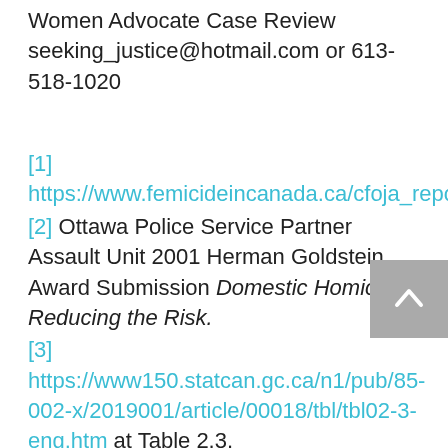Women Advocate Case Review seeking_justice@hotmail.com or 613-518-1020
[1] https://www.femicideincanada.ca/cfoja_reports
[2] Ottawa Police Service Partner Assault Unit 2001 Herman Goldstein Award Submission Domestic Homicide Reducing the Risk.
[3] https://www150.statcan.gc.ca/n1/pub/85-002-x/2019001/article/00018/tbl/tbl02-3-eng.htm at Table 2.3.